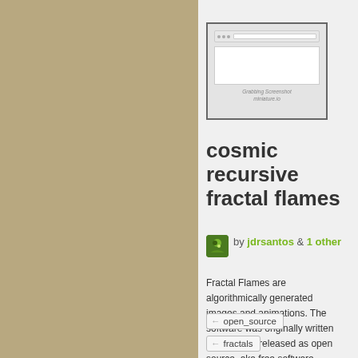[Figure (screenshot): Browser screenshot placeholder showing 'Grabbing Screenshot miniature.io']
cosmic recursive fractal flames
by jdrsantos & 1 other
Fractal Flames are algorithmically generated images and animations. The software was originally written in 1992 and released as open source, aka free software. Since then it has developed a lot. It has been incorporated into many graphics programs and por
open_source
fractals